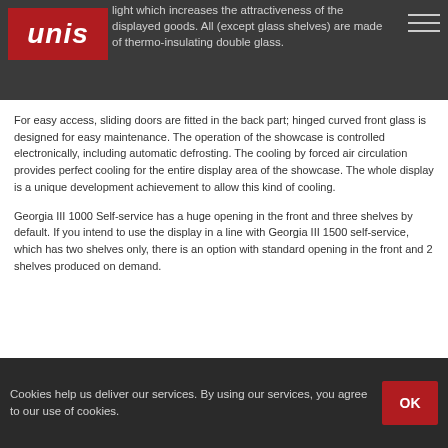light which increases the attractiveness of the displayed goods. All (except glass shelves) are made of thermo-insulating double glass.
For easy access, sliding doors are fitted in the back part; hinged curved front glass is designed for easy maintenance. The operation of the showcase is controlled electronically, including automatic defrosting. The cooling by forced air circulation provides perfect cooling for the entire display area of the showcase. The whole display is a unique development achievement to allow this kind of cooling.
Georgia III 1000 Self-service has a huge opening in the front and three shelves by default. If you intend to use the display in a line with Georgia III 1500 self-service, which has two shelves only, there is an option with standard opening in the front and 2 shelves produced on demand.
Cookies help us deliver our services. By using our services, you agree to our use of cookies.